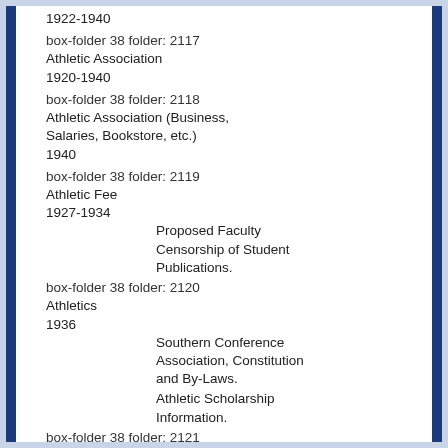1922-1940
box-folder 38 folder: 2117
Athletic Association
1920-1940
box-folder 38 folder: 2118
Athletic Association (Business, Salaries, Bookstore, etc.)
1940
box-folder 38 folder: 2119
Athletic Fee
1927-1934
    Proposed Faculty Censorship of Student Publications.
box-folder 38 folder: 2120
Athletics
1936
    Southern Conference Association, Constitution and By-Laws.
    Athletic Scholarship Information.
box-folder 38 folder: 2121
Audit, by state
1934-1935
box-folder 38 folder: 2122
Aviation - Nonactive file
1939
box-folder 38 folder: 2123